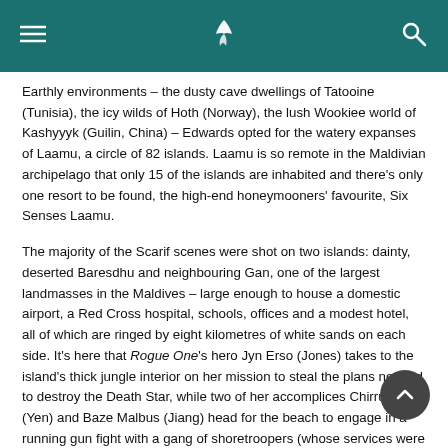[Navigation bar with menu icon, airline logo, search icon]
Earthly environments – the dusty cave dwellings of Tatooine (Tunisia), the icy wilds of Hoth (Norway), the lush Wookiee world of Kashyyyk (Guilin, China) – Edwards opted for the watery expanses of Laamu, a circle of 82 islands. Laamu is so remote in the Maldivian archipelago that only 15 of the islands are inhabited and there's only one resort to be found, the high-end honeymooners' favourite, Six Senses Laamu.
The majority of the Scarif scenes were shot on two islands: dainty, deserted Baresdhu and neighbouring Gan, one of the largest landmasses in the Maldives – large enough to house a domestic airport, a Red Cross hospital, schools, offices and a modest hotel, all of which are ringed by eight kilometres of white sands on each side. It's here that Rogue One's hero Jyn Erso (Jones) takes to the island's thick jungle interior on her mission to steal the plans needed to destroy the Death Star, while two of her accomplices Chirrut Îmwe (Yen) and Baze Malbus (Jiang) head for the beach to engage in a running gun fight with a gang of shoretroopers (whose services were helpfully provided by the Maldivian navy when enough failed to materialise from the sparse island population). But while interested adults were hard to come by – most islanders